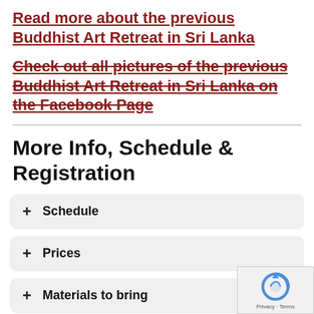Read more about the previous Buddhist Art Retreat in Sri Lanka
Check out all pictures of the previous Buddhist Art Retreat in Sri Lanka on the Facebook Page
More Info, Schedule & Registration
+ Schedule
+ Prices
+ Materials to bring
+ Where